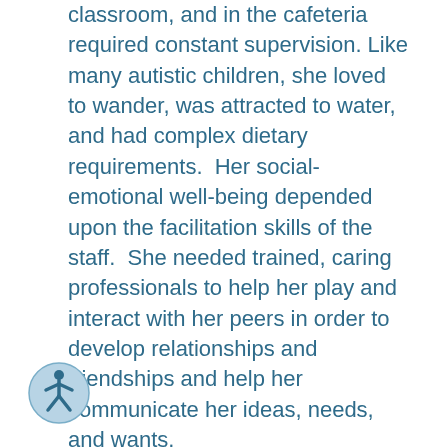classroom, and in the cafeteria required constant supervision. Like many autistic children, she loved to wander, was attracted to water, and had complex dietary requirements.  Her social-emotional well-being depended upon the facilitation skills of the staff.  She needed trained, caring professionals to help her play and interact with her peers in order to develop relationships and friendships and help her communicate her ideas, needs, and wants.
And let's not forget her peers. Joey was young and lucky enough to enjoy true friendships with many of her classmates. Friends like Emilie, Jessica, James (and too many others to name!) were the highlight of her school days. There no words to express the gift that Joey's friends were to her and the family that loved
[Figure (illustration): Accessibility icon: a blue circle with a white stick figure person symbol (wheelchair accessibility style)]